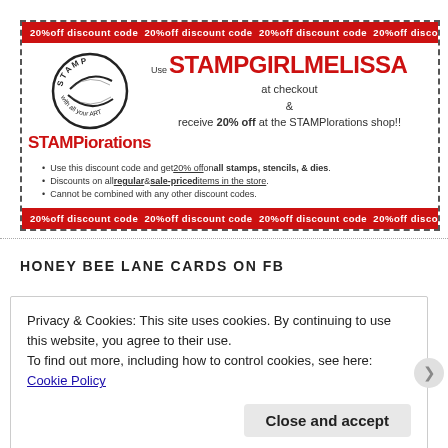[Figure (infographic): STAMPlorations coupon box with dashed border. Red banners top and bottom reading '20%off discount code' repeated. Logo with circular STAMP text and STAMPlorations brand. Large red code STAMPGIRLMELISSA. Text: Use STAMPGIRLMELISSA at checkout & receive 20% off at the STAMPlorations shop!! Bullet points about discount usage.]
HONEY BEE LANE CARDS ON FB
Privacy & Cookies: This site uses cookies. By continuing to use this website, you agree to their use.
To find out more, including how to control cookies, see here: Cookie Policy